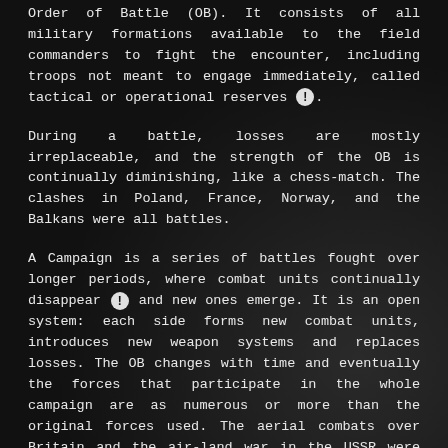Order of Battle (OB). It consists of all military formations available to the field commanders to fight the encounter, including troops not meant to engage immediately, called tactical or operational reserves [!].
During a battle, losses are mostly irreplaceable, and the strength of the OB is continually diminishing, like a chess-match. The clashes in Poland, France, Norway, and the Balkans were all battles.
A Campaign is a series of battles fought over longer periods, where combat units continually disappear [!] and new ones emerge. It is an open system: each side forms new combat units, introduces new weapon systems and replaces losses. The OB changes with time and eventually the forces that participate in the whole campaign are as numerous or more than the original forces used. The aerial combats over Britain and the air-land war in the USSR were campaigns.